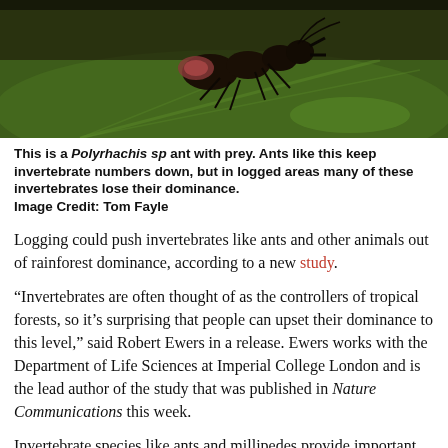[Figure (photo): Close-up macro photograph of a Polyrhachis sp ant with prey on a green leaf background.]
This is a Polyrhachis sp ant with prey. Ants like this keep invertebrate numbers down, but in logged areas many of these invertebrates lose their dominance. Image Credit: Tom Fayle
Logging could push invertebrates like ants and other animals out of rainforest dominance, according to a new study.
“Invertebrates are often thought of as the controllers of tropical forests, so it’s surprising that people can upset their dominance to this level,” said Robert Ewers in a release. Ewers works with the Department of Life Sciences at Imperial College London and is the lead author of the study that was published in Nature Communications this week.
Invertebrate species like ants and millipedes provide important services to the operation and life cycle of ecosystems, aiding with the breaking down of dead plant material while other larger invertebrates like spiders control the populations of